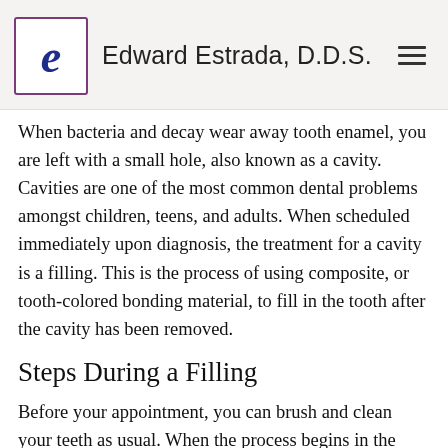Edward Estrada, D.D.S.
When bacteria and decay wear away tooth enamel, you are left with a small hole, also known as a cavity. Cavities are one of the most common dental problems amongst children, teens, and adults. When scheduled immediately upon diagnosis, the treatment for a cavity is a filling. This is the process of using composite, or tooth-colored bonding material, to fill in the tooth after the cavity has been removed.
Steps During a Filling
Before your appointment, you can brush and clean your teeth as usual. When the process begins in the office, first we will numb the area using a local